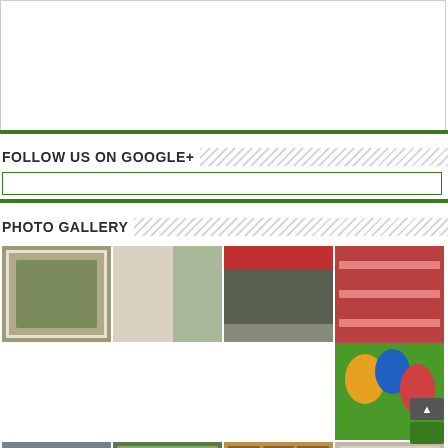[Figure (other): White empty box with thin border at top of page]
FOLLOW US ON GOOGLE+
[Figure (other): Google+ follow widget input/embed box with green border]
PHOTO GALLERY
[Figure (photo): Photo gallery grid showing: a framed lion photo, an art gallery interior, a building facade with red banner, a red multi-story school building courtyard, a colorful abstract painting, and partial bottom row of more photos]
[Figure (other): Green scroll-to-top button overlay]